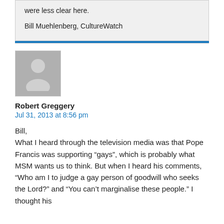were less clear here.
Bill Muehlenberg, CultureWatch
Robert Greggery
Jul 31, 2013 at 8:56 pm
Bill,
What I heard through the television media was that Pope Francis was supporting “gays”, which is probably what MSM wants us to think. But when I heard his comments, “Who am I to judge a gay person of goodwill who seeks the Lord?” and “You can’t marginalise these people.” I thought his